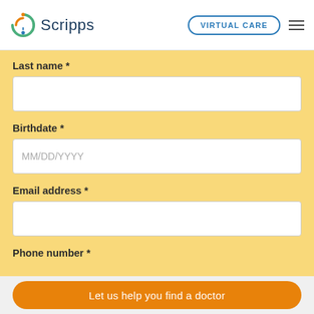[Figure (logo): Scripps Health logo with circular orange and green icon and blue 'Scripps' wordmark]
VIRTUAL CARE
Last name *
Birthdate *
MM/DD/YYYY
Email address *
Phone number *
Let us help you find a doctor